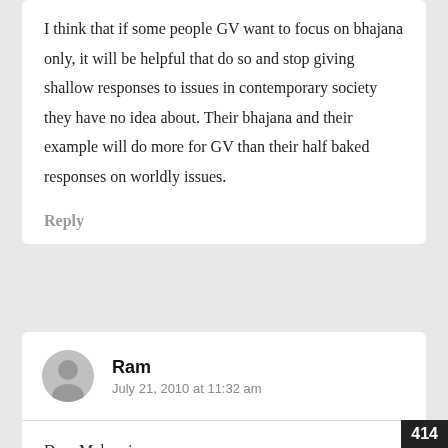I think that if some people GV want to focus on bhajana only, it will be helpful that do so and stop giving shallow responses to issues in contemporary society they have no idea about. Their bhajana and their example will do more for GV than their half baked responses on worldly issues.
Reply
Ram
July 21, 2010 at 11:32 am
Dear Maharaj,

Today I am humble and will say Yes I did
414